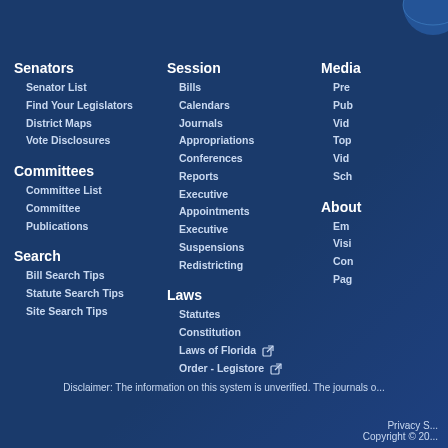Senators
Senator List
Find Your Legislators
District Maps
Vote Disclosures
Committees
Committee List
Committee
Publications
Search
Bill Search Tips
Statute Search Tips
Site Search Tips
Session
Bills
Calendars
Journals
Appropriations
Conferences
Reports
Executive
Appointments
Executive
Suspensions
Redistricting
Laws
Statutes
Constitution
Laws of Florida
Order - Legistore
Media
Pre...
Pub...
Vid...
Top...
Vid...
Sch...
About
Em...
Visi...
Con...
Pag...
Disclaimer: The information on this system is unverified. The journals o...
Privacy S...
Copyright © 20...